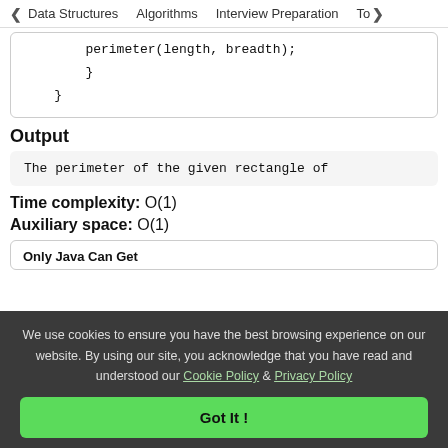< Data Structures   Algorithms   Interview Preparation   To>
perimeter(length, breadth);
        }
    }
Output
The perimeter of the given rectangle of
Time complexity: O(1)
Auxiliary space: O(1)
Only Java Can Get
We use cookies to ensure you have the best browsing experience on our website. By using our site, you acknowledge that you have read and understood our Cookie Policy & Privacy Policy
Got It !